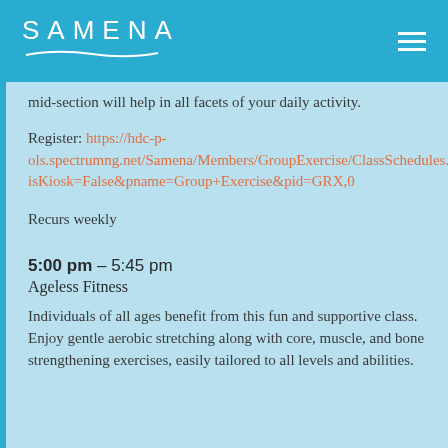SAMENA
mid-section will help in all facets of your daily activity.
Register: https://hdc-p-ols.spectrumng.net/Samena/Members/GroupExercise/ClassSchedules.aspx?isKiosk=False&pname=Group+Exercise&pid=GRX,0
Recurs weekly
5:00 pm – 5:45 pm
Ageless Fitness
Individuals of all ages benefit from this fun and supportive class. Enjoy gentle aerobic stretching along with core, muscle, and bone strengthening exercises, easily tailored to all levels and abilities.